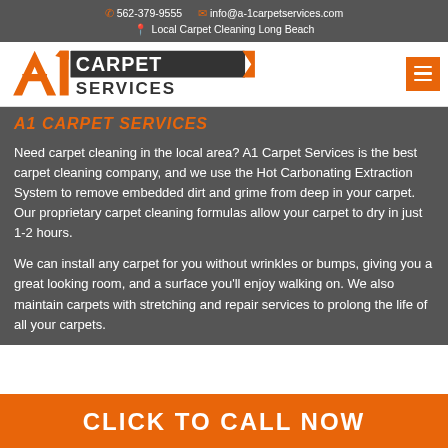562-379-9555  info@a-1carpetservices.com  Local Carpet Cleaning Long Beach
[Figure (logo): A1 Carpet Services logo with orange stylized A1 and dark text CARPET SERVICES]
A1 CARPET SERVICES
Need carpet cleaning in the local area? A1 Carpet Services is the best carpet cleaning company, and we use the Hot Carbonating Extraction System to remove embedded dirt and grime from deep in your carpet. Our proprietary carpet cleaning formulas allow your carpet to dry in just 1-2 hours.
We can install any carpet for you without wrinkles or bumps, giving you a great looking room, and a surface you'll enjoy walking on. We also maintain carpets with stretching and repair services to prolong the life of all your carpets.
CLICK TO CALL NOW